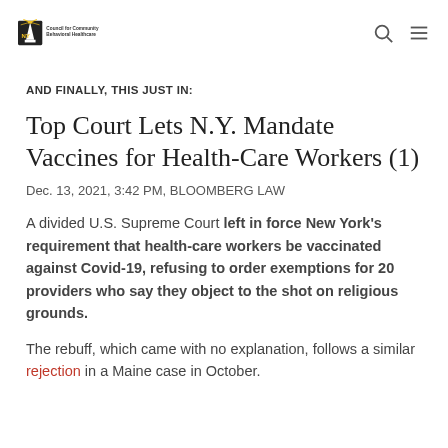Council for Community Behavioral Healthcare
AND FINALLY, THIS JUST IN:
Top Court Lets N.Y. Mandate Vaccines for Health-Care Workers (1)
Dec. 13, 2021, 3:42 PM, BLOOMBERG LAW
A divided U.S. Supreme Court left in force New York's requirement that health-care workers be vaccinated against Covid-19, refusing to order exemptions for 20 providers who say they object to the shot on religious grounds.
The rebuff, which came with no explanation, follows a similar rejection in a Maine case in October.